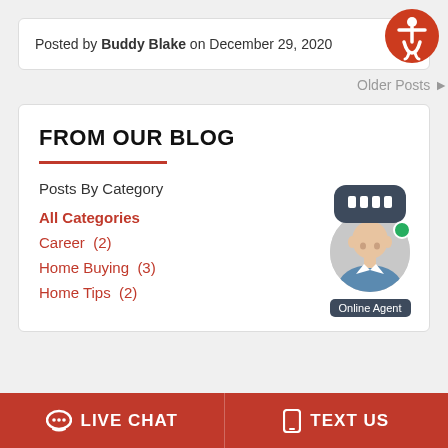Posted by Buddy Blake on December 29, 2020
Older Posts ▶
FROM OUR BLOG
Posts By Category
All Categories
Career  (2)
Home Buying  (3)
Home Tips  (2)
[Figure (illustration): Online agent chat widget with photo and green dot]
LIVE CHAT
TEXT US